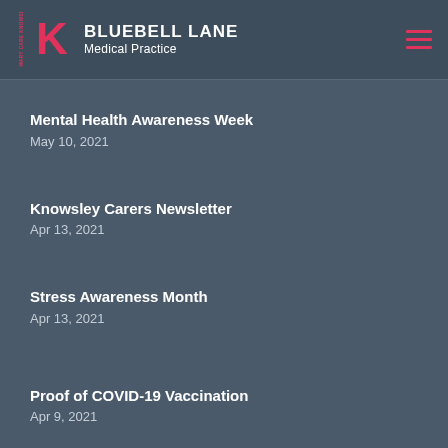BLUEBELL LANE Medical Practice
Mental Health Awareness Week
May 10, 2021
Knowsley Carers Newsletter
Apr 13, 2021
Stress Awareness Month
Apr 13, 2021
Proof of COVID-19 Vaccination
Apr 9, 2021